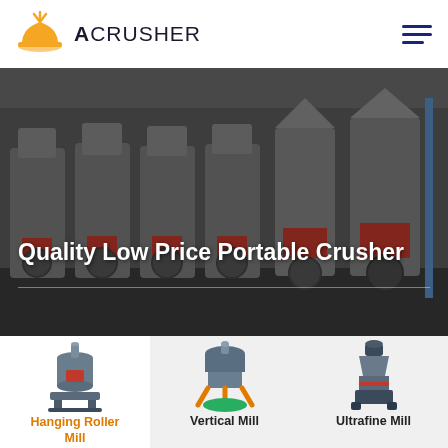[Figure (logo): Acrusher company logo — orange hard-hat icon with rays, bold uppercase text ACRUSHER]
Quality Low Price Portable Crusher
[Figure (photo): Industrial factory floor with rows of large grey milling/crushing machines with red hydraulic cylinders]
[Figure (photo): Hanging Roller Mill machine — tall cylindrical grey mill with red accent]
Hanging Roller Mill
[Figure (photo): Vertical Mill machine — blue/grey vertical mill with orange base supports and green motor]
Vertical Mill
[Figure (photo): Ultrafine Mill machine — compact grey machine with red accent stripe]
Ultrafine Mill